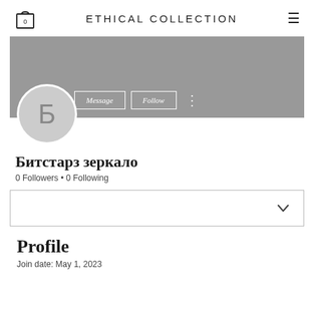ETHICAL COLLECTION
[Figure (screenshot): User profile banner area with gray background, Message and Follow buttons, and three-dot menu]
[Figure (illustration): Circular avatar with Cyrillic letter Б on gray background]
Битстарз зеркало
0 Followers • 0 Following
[Figure (other): Dropdown selector box with chevron/down arrow]
Profile
Join date: May 1, 2023